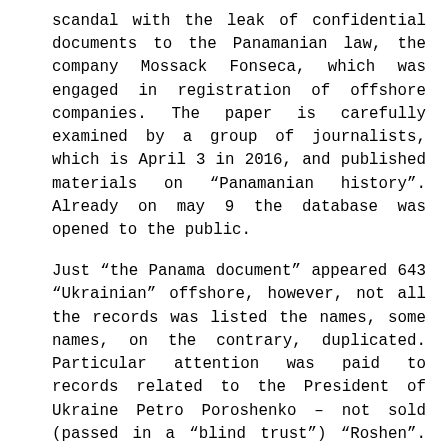scandal with the leak of confidential documents to the Panamanian law, the company Mossack Fonseca, which was engaged in registration of offshore companies. The paper is carefully examined by a group of journalists, which is April 3 in 2016, and published materials on “Panamanian history”. Already on may 9 the database was opened to the public.
Just “the Panama document” appeared 643 “Ukrainian” offshore, however, not all the records was listed the names, some names, on the contrary, duplicated. Particular attention was paid to records related to the President of Ukraine Petro Poroshenko – not sold (passed in a “blind trust”) “Roshen”. The head of state on the scandal reacted quickly and asked the lawyers to explain why it has not violated the law.